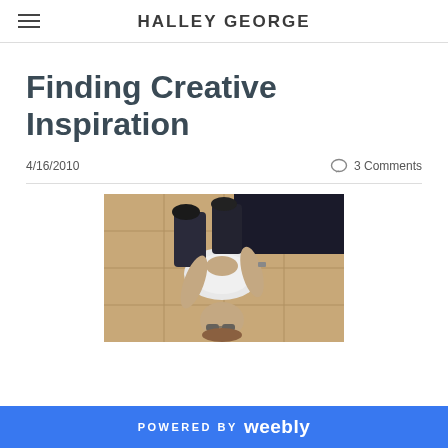HALLEY GEORGE
Finding Creative Inspiration
4/16/2010   3 Comments
[Figure (photo): Person lying on their back on a tiled floor, photographed from above, wearing a white shirt and dark pants with sunglasses.]
POWERED BY weebly